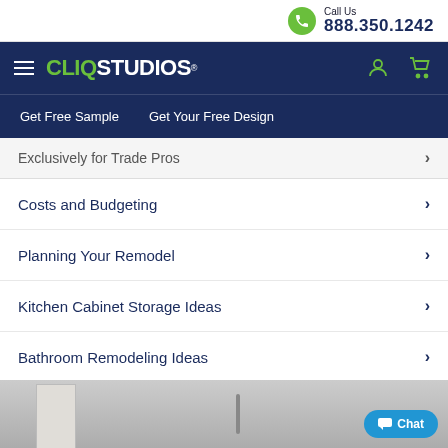Call Us 888.350.1242
[Figure (logo): CliqStudios navigation bar with hamburger menu, logo, user icon and cart icon]
Get Free Sample   Get Your Free Design
Exclusively for Trade Pros
Costs and Budgeting
Planning Your Remodel
Kitchen Cabinet Storage Ideas
Bathroom Remodeling Ideas
[Figure (photo): Partial view of a bathroom or kitchen interior at bottom of page]
Chat